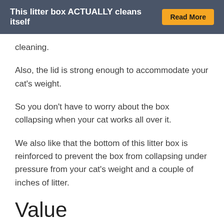This litter box ACTUALLY cleans itself  Read More
cleaning.
Also, the lid is strong enough to accommodate your cat's weight.
So you don't have to worry about the box collapsing when your cat works all over it.
We also like that the bottom of this litter box is reinforced to prevent the box from collapsing under pressure from your cat's weight and a couple of inches of litter.
Value
One thing we love about the IRIS TOP Entry Litter